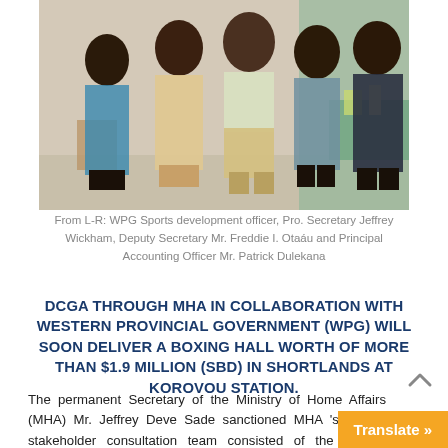[Figure (photo): Group photo of five men standing indoors: WPG Sports development officer, Pro. Secretary Jeffrey Wickham, Deputy Secretary Mr. Freddie I. Otaáu and Principal Accounting Officer Mr. Patrick Dulekana]
From L-R: WPG Sports development officer, Pro. Secretary Jeffrey Wickham, Deputy Secretary Mr. Freddie I. Otaáu and Principal Accounting Officer Mr. Patrick Dulekana
DCGA THROUGH MHA IN COLLABORATION WITH WESTERN PROVINCIAL GOVERNMENT (WPG) WILL SOON DELIVER A BOXING HALL WORTH OF MORE THAN $1.9 MILLION (SBD) IN SHORTLANDS AT KOROVOU STATION.
The permanent Secretary of the Ministry of Home Affairs (MHA) Mr. Jeffrey Deve Sade sanctioned MHA's project stakeholder consultation team consisted of the Deputy Secretary Mr. Freddie I. Otaáu (Project Manager) and Principal Accounting Officer Mr. Pa...